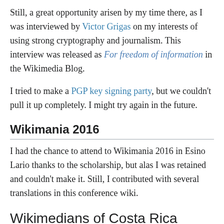Still, a great opportunity arisen by my time there, as I was interviewed by Victor Grigas on my interests of using strong cryptography and journalism. This interview was released as For freedom of information in the Wikimedia Blog.
I tried to make a PGP key signing party, but we couldn't pull it up completely. I might try again in the future.
Wikimania 2016
I had the chance to attend to Wikimania 2016 in Esino Lario thanks to the scholarship, but alas I was retained and couldn't make it. Still, I contributed with several translations in this conference wiki.
Wikimedians of Costa Rica